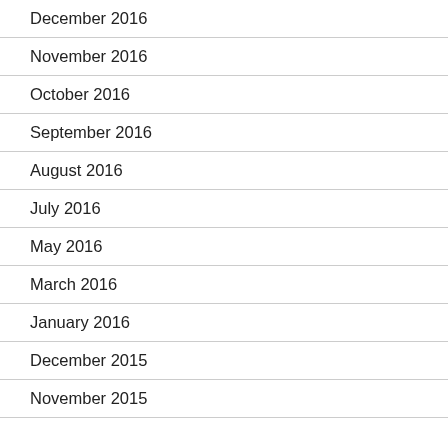December 2016
November 2016
October 2016
September 2016
August 2016
July 2016
May 2016
March 2016
January 2016
December 2015
November 2015